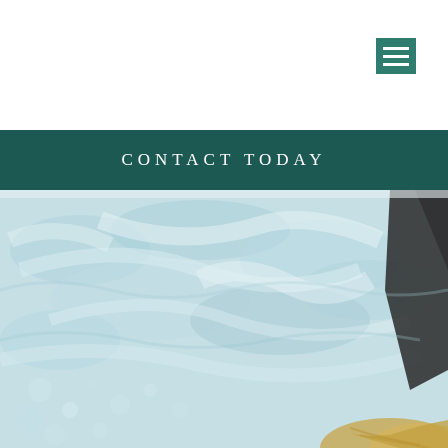[Figure (other): White navigation header bar with a dark teal hamburger menu icon button in the top-right corner]
CONTACT TODAY
[Figure (photo): Aerial/top-down view of a hot tub or jacuzzi with bubbling light blue/teal water. A dark surfboard-like object is visible at the right edge. A person with blonde hair is partially visible at the bottom-right corner.]